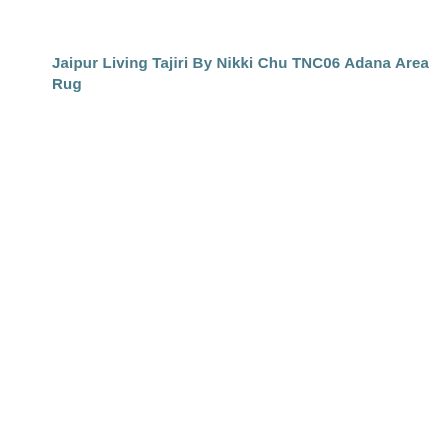Jaipur Living Tajiri By Nikki Chu TNC06 Adana Area Rug